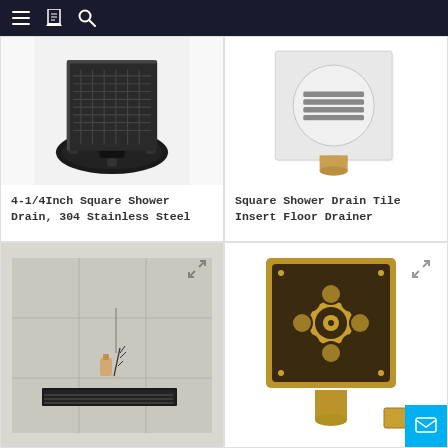Navigation header with menu, bookmark, and search icons
[Figure (photo): 4-1/4 Inch Square Shower Drain in black/dark finish with square grate pattern on top and circular plastic base flange]
4-1/4Inch Square Shower Drain, 304 Stainless Steel
[Figure (photo): Square Shower Drain Tile Insert Floor Drainer in chrome/silver finish with horizontal slat grate and gold/brass outlet pipe]
Square Shower Drain Tile Insert Floor Drainer
[Figure (photo): Linear floor drain set in light gray tile floor with a small perfume bottle and decorative twigs placed nearby]
[Figure (photo): Ornate square floor drain in antique bronze/gold finish with floral decorative pattern and circular center medallion, with brass pipe outlet]